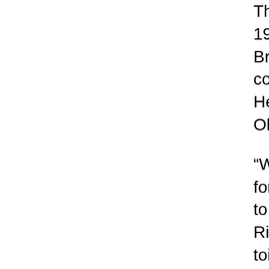The Civil Rights activist took the audience back to 1954 citing the landmark U.S. Supreme Court case of Brown vs. Board of Education where America's top court outlawed racial segregation in public education. He said that the pendulum has swung back and that Ohio is center stage.
“We talk so much about the Civil rights era that we forget it started because parents wanted their children to have an equal education,” Sharpton said. “The Civil Rights movement was not just about sharing the same toilet or getting a cup of coffee at Woolworths, it was about some conscientious Black parents who wanted the same access to information as everyone else in America. Someone decided that those kids didn’t fit and they fought their case all the way up to the Supreme Court.”
The high tempered rally, that went on for about two hours, drew educational policy makers, clergy, grassroots activists from groups such as the Imperial Women and the Carl Stokes Brigade, students, and area parents.
And the activists are calling for Kasich, who took office in Jan., to give Williams-Bolar an immediate pardon, saying the punishment does not fit the crime